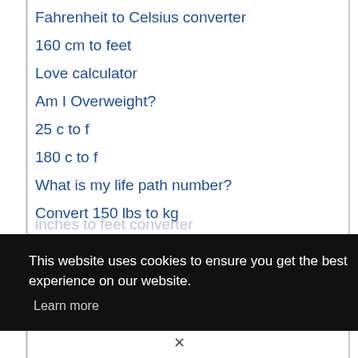Fahrenheit to Celsius converter
160 cm to feet
Love calculator
Am I Overweight?
25 c to f
180 c to f
What is my life path number?
Convert 150 lbs to kg
inches to feet
This website uses cookies to ensure you get the best experience on our website. Learn more